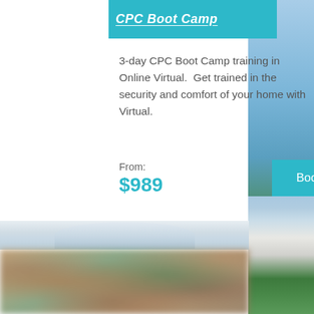CPC Boot Camp
3-day CPC Boot Camp training in Online Virtual.  Get trained in the security and comfort of your home with Virtual.
From:
$989
Book Now
[Figure (photo): Blurred photo of people, partially visible at bottom of page]
[Figure (photo): Outdoor photo with trees and building visible on right side]